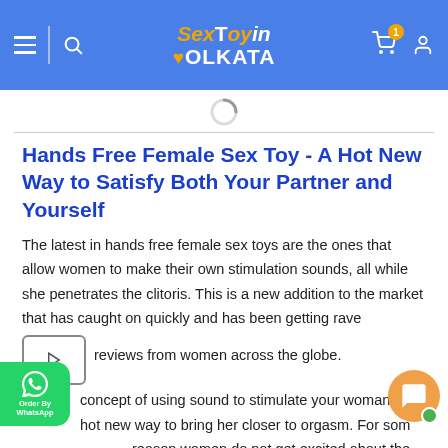SexToyin Kolkata — website header with navigation icons and logo
Hands Free Female Sex Toy - A Hot New Way to Satisfy Both Your Partner and Yourself
The latest in hands free female sex toys are the ones that allow women to make their own stimulation sounds, all while she penetrates the clitoris. This is a new addition to the market that has caught on quickly and has been getting rave reviews from women across the globe.
The concept of using sound to stimulate your woman is a hot new way to bring her closer to orgasm. For some reason women do not get excited about the actual act of